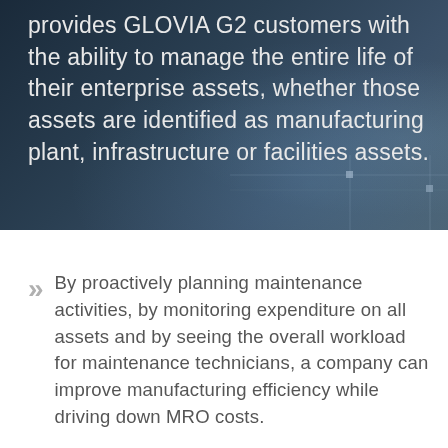[Figure (photo): Dark blue-grey technology background image with bokeh light effects and subtle grid lines overlay]
provides GLOVIA G2 customers with the ability to manage the entire life of their enterprise assets, whether those assets are identified as manufacturing plant, infrastructure or facilities assets.
By proactively planning maintenance activities, by monitoring expenditure on all assets and by seeing the overall workload for maintenance technicians, a company can improve manufacturing efficiency while driving down MRO costs.